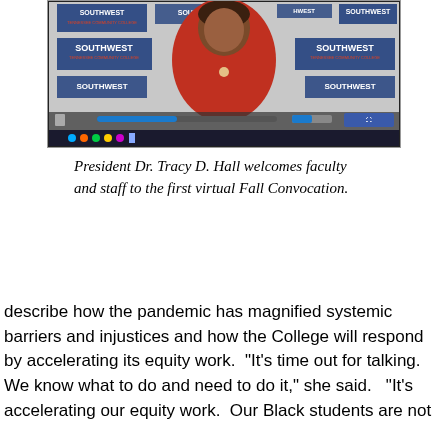[Figure (photo): Screenshot of a video call showing a woman in a red jacket speaking, with 'SOUTHWEST Tennessee Community College' branding repeated in the background. The screen shows a video conference interface with taskbar at the bottom.]
President Dr. Tracy D. Hall welcomes faculty and staff to the first virtual Fall Convocation.
describe how the pandemic has magnified systemic barriers and injustices and how the College will respond by accelerating its equity work.  “It’s time out for talking. We know what to do and need to do it,” she said.   “It’s accelerating our equity work.  Our Black students are not